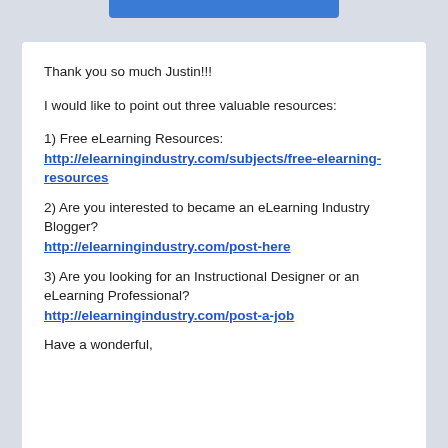Thank you so much Justin!!!
I would like to point out three valuable resources:
1) Free eLearning Resources: http://elearningindustry.com/subjects/free-elearning-resources
2) Are you interested to became an eLearning Industry Blogger? http://elearningindustry.com/post-here
3) Are you looking for an Instructional Designer or an eLearning Professional? http://elearningindustry.com/post-a-job
Have a wonderful,